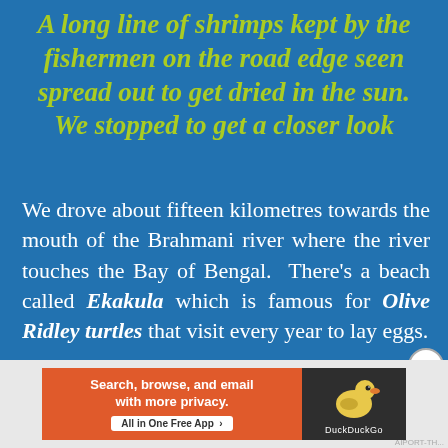A long line of shrimps kept by the fishermen on the road edge seen spread out to get dried in the sun. We stopped to get a closer look
We drove about fifteen kilometres towards the mouth of the Brahmani river where the river touches the Bay of Bengal. There's a beach called Ekakula which is famous for Olive Ridley turtles that visit every year to lay eggs.
[Figure (screenshot): DuckDuckGo advertisement banner: orange left side with text 'Search, browse, and email with more privacy. All in One Free App', dark right side with DuckDuckGo duck logo and brand name.]